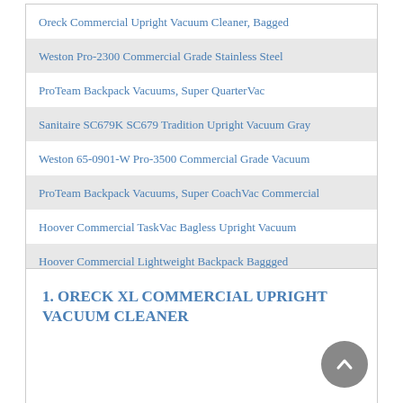Oreck Commercial Upright Vacuum Cleaner, Bagged
Weston Pro-2300 Commercial Grade Stainless Steel
ProTeam Backpack Vacuums, Super QuarterVac
Sanitaire SC679K SC679 Tradition Upright Vacuum Gray
Weston 65-0901-W Pro-3500 Commercial Grade Vacuum
ProTeam Backpack Vacuums, Super CoachVac Commercial
Hoover Commercial TaskVac Bagless Upright Vacuum
Hoover Commercial Lightweight Backpack Baggged
1. ORECK XL COMMERCIAL UPRIGHT VACUUM CLEANER